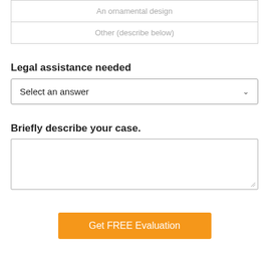An ornamental design
Other (describe below)
Legal assistance needed
Select an answer
Briefly describe your case.
Get FREE Evaluation